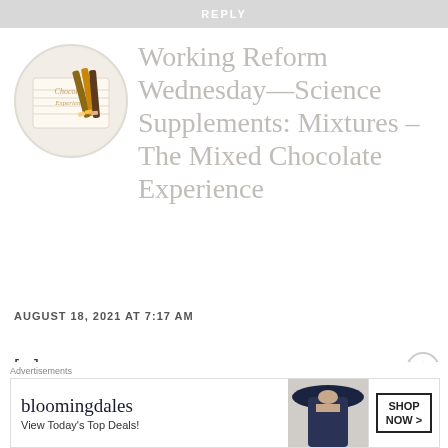REPLY
[Figure (illustration): Circular avatar image showing a notebook page with 'Chocolate Experience' written in script, with colored pencils leaning against it on a light background]
Working Reform Wednesday—Science Supplements: Mixtures – The Mixed Chocolate Experience
AUGUST 18, 2021 AT 7:17 AM
[...]
[Figure (infographic): Bloomingdales advertisement banner: 'bloomingdales — View Today's Top Deals!' with a model wearing a wide-brim hat, and a 'SHOP NOW >' button]